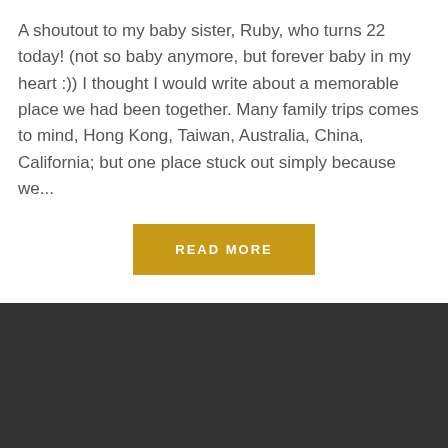A shoutout to my baby sister, Ruby, who turns 22 today! (not so baby anymore, but forever baby in my heart :)) I thought I would write about a memorable place we had been together. Many family trips comes to mind, Hong Kong, Taiwan, Australia, China, California; but one place stuck out simply because we...
READ MORE